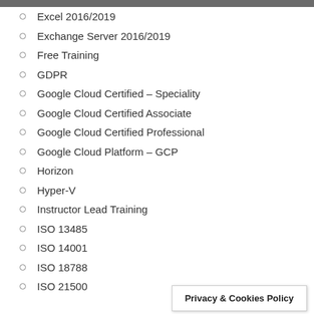Excel 2016/2019
Exchange Server 2016/2019
Free Training
GDPR
Google Cloud Certified – Speciality
Google Cloud Certified Associate
Google Cloud Certified Professional
Google Cloud Platform – GCP
Horizon
Hyper-V
Instructor Lead Training
ISO 13485
ISO 14001
ISO 18788
ISO 21500
Privacy & Cookies Policy